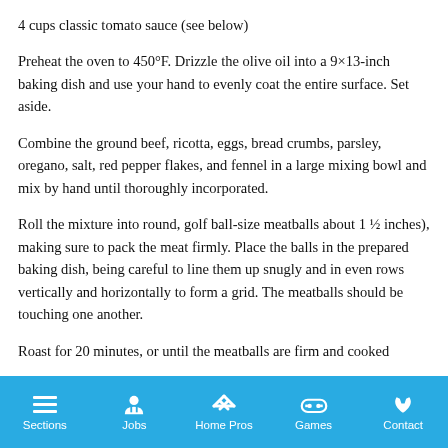4 cups classic tomato sauce (see below)
Preheat the oven to 450°F. Drizzle the olive oil into a 9×13-inch baking dish and use your hand to evenly coat the entire surface. Set aside.
Combine the ground beef, ricotta, eggs, bread crumbs, parsley, oregano, salt, red pepper flakes, and fennel in a large mixing bowl and mix by hand until thoroughly incorporated.
Roll the mixture into round, golf ball-size meatballs about 1 ½ inches), making sure to pack the meat firmly. Place the balls in the prepared baking dish, being careful to line them up snugly and in even rows vertically and horizontally to form a grid. The meatballs should be touching one another.
Roast for 20 minutes, or until the meatballs are firm and cooked
Sections  Jobs  Home Pros  Games  Contact